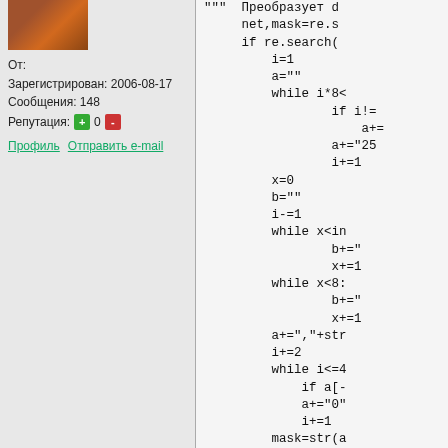[Figure (photo): User avatar photo - partial view of a person's face]
От:
Зарегистрирован: 2006-08-17
Сообщения: 148
Репутация: [+] 0 [-]
Профиль   Отправить е-mail
""" Преобразует d
    net,mask=re.s
    if re.search(
        i=1
        a=""
        while i*8<
                if i!=
                    a+=
                a+="25
                i+=1
        x=0
        b=""
        i-=1
        while x<in
                b+="
                x+=1
        while x<8:
                b+="
                x+=1
        a+=","+str
        i+=2
        while i<=4
            if a[-
            a+="0"
            i+=1
        mask=str(a
    #print net+"/
    return (net,m

def in_net(ip,net,mas
    ip=map(int,re.spl
    net=map(int, re.s